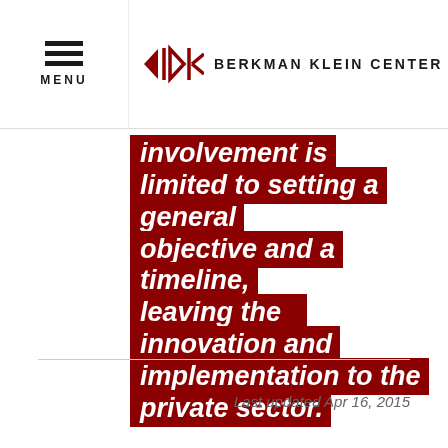MENU | BERKMAN KLEIN CENTER
involvement is limited to setting a general objective and a timeline, leaving the innovation and implementation to the private sector.
DOWNLOAD FROM SSRN
Last updated Apr 16, 2015